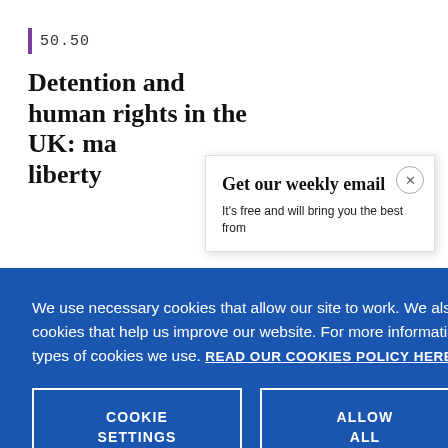50.50
Detention and human rights in the UK: ma... liberty
Get our weekly email
It's free and will bring you the best from
We use necessary cookies that allow our site to work. We also set optional cookies that help us improve our website. For more information about the types of cookies we use. READ OUR COOKIES POLICY HERE
COOKIE SETTINGS
ALLOW ALL COOKIES
data.